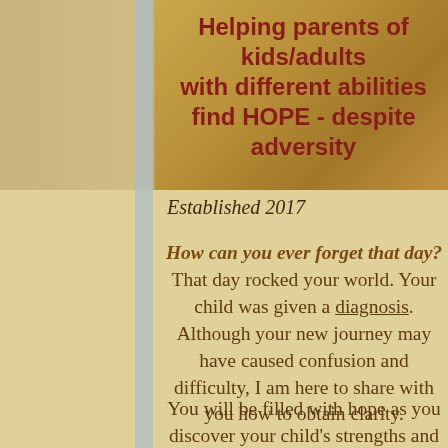Helping parents of kids/adults with different abilities find HOPE - despite adversity
Established 2017
How can you ever forget that day? That day rocked your world. Your child was given a diagnosis. Although your new journey may have caused confusion and difficulty, I am here to share with you how to obtain clarity.
You will be filled with hope as you discover your child's strengths and gifts. One